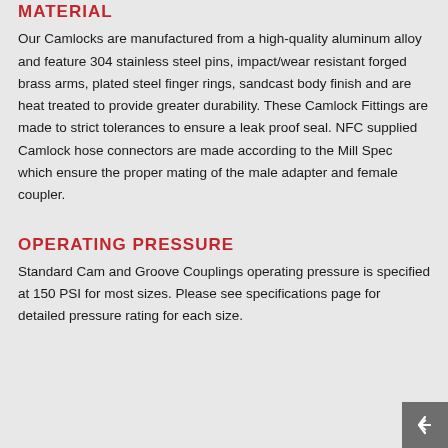MATERIAL
Our Camlocks are manufactured from a high-quality aluminum alloy and feature 304 stainless steel pins, impact/wear resistant forged brass arms, plated steel finger rings, sandcast body finish and are heat treated to provide greater durability. These Camlock Fittings are made to strict tolerances to ensure a leak proof seal. NFC supplied Camlock hose connectors are made according to the Mill Spec which ensure the proper mating of the male adapter and female coupler.
OPERATING PRESSURE
Standard Cam and Groove Couplings operating pressure is specified at 150 PSI for most sizes. Please see specifications page for detailed pressure rating for each size.